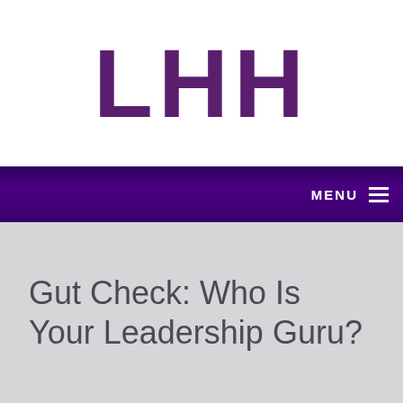[Figure (logo): LHH logo in bold dark purple text on white background]
MENU ☰
Gut Check: Who Is Your Leadership Guru?